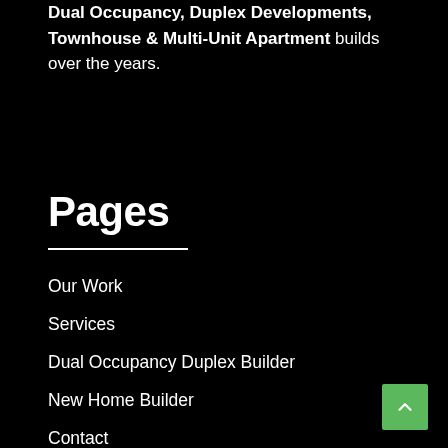Dual Occupancy, Duplex Developments, Townhouse & Multi-Unit Apartment builds over the years.
Pages
Our Work
Services
Dual Occupancy Duplex Builder
New Home Builder
Contact